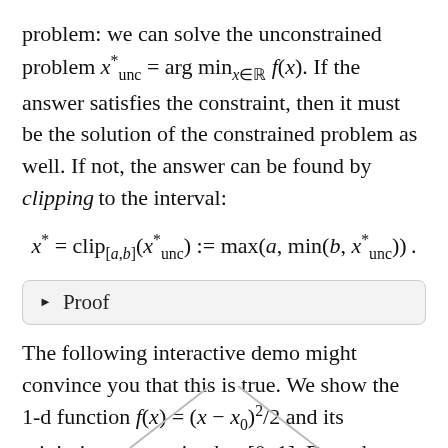problem: we can solve the unconstrained problem x*_unc = arg min_{x∈R} f(x). If the answer satisfies the constraint, then it must be the solution of the constrained problem as well. If not, the answer can be found by clipping to the interval:
▶ Proof
The following interactive demo might convince you that this is true. We show the 1-d function f(x) = (x − x_0)²/2 and its minimizer constrained to [0, 1]. Drag the slider to change the location of the unconstrained minimizer x_0.
[Figure (other): Bottom portion of an interactive chart showing two diagonal lines (chart cropped at page bottom)]